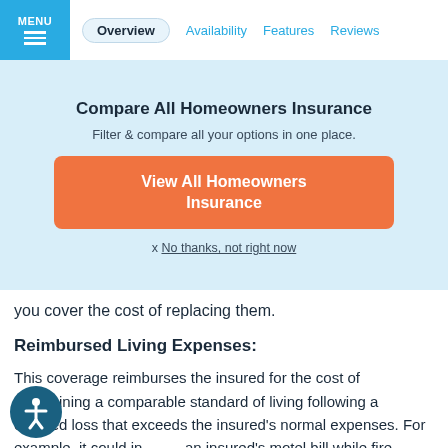MENU | Overview | Availability | Features | Reviews
Compare All Homeowners Insurance
Filter & compare all your options in one place.
View All Homeowners Insurance
x No thanks, not right now
you cover the cost of replacing them.
Reimbursed Living Expenses:
This coverage reimburses the insured for the cost of maintaining a comparable standard of living following a covered loss that exceeds the insured's normal expenses. For example, it could include an insured's motel bill while fire damage to the home is being repaired or replaced or until the insured moves to a permanent residence.